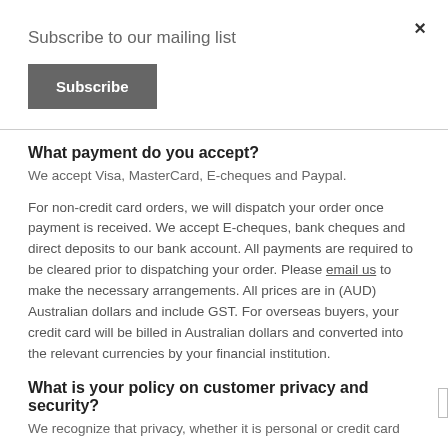×
Subscribe to our mailing list
Subscribe
What payment do you accept?
We accept Visa, MasterCard, E-cheques and Paypal.
For non-credit card orders, we will dispatch your order once payment is received. We accept E-cheques, bank cheques and direct deposits to our bank account. All payments are required to be cleared prior to dispatching your order. Please email us to make the necessary arrangements. All prices are in (AUD) Australian dollars and include GST. For overseas buyers, your credit card will be billed in Australian dollars and converted into the relevant currencies by your financial institution.
What is your policy on customer privacy and security?
We recognize that privacy, whether it is personal or credit card